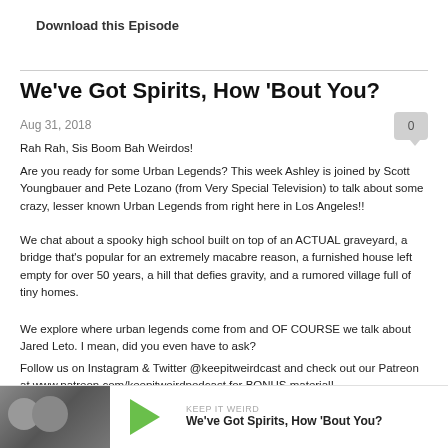Download this Episode
We've Got Spirits, How 'Bout You?
Aug 31, 2018
Rah Rah, Sis Boom Bah Weirdos!
Are you ready for some Urban Legends?  This week Ashley is joined by Scott Youngbauer and Pete Lozano (from Very Special Television) to talk about some crazy, lesser known Urban Legends from right here in Los Angeles!!
We chat about a spooky high school built on top of an ACTUAL graveyard, a bridge that's popular for an extremely macabre reason, a furnished house left empty for over 50 years, a hill that defies gravity, and a rumored village full of tiny homes.
We explore where urban legends come from and OF COURSE we talk about Jared Leto.  I mean, did you even have to ask?
Follow us on Instagram & Twitter @keepitweirdcast and check out our Patreon at www.patreon.com/keepitweirdpodcast for BONUS material!
[Figure (other): Podcast player card with photo of two people, green play button, label KEEP IT WEIRD, and title We've Got Spirits, How 'Bout You?]